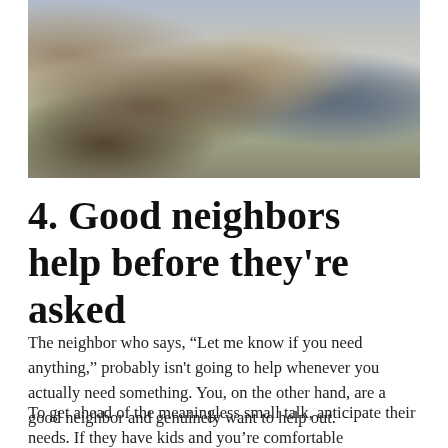[Figure (photo): Three men and a child in a kitchen/home setting. One man in a striped shirt stands at the counter with vegetables and a sink. A second man holds a baby. A third man stands near a doorway. A young girl is also visible.]
4. Good neighbors help before they're asked
The neighbor who says, “Let me know if you need anything,” probably isn't going to help whenever you actually need something. You, on the other hand, are a good neighbor and genuinely want to help out.
To get ahead of the meaningless small talk, anticipate their needs. If they have kids and you’re comfortable babysitting, tell them upfront. If they’ve got a dirty driveway, there’ther…